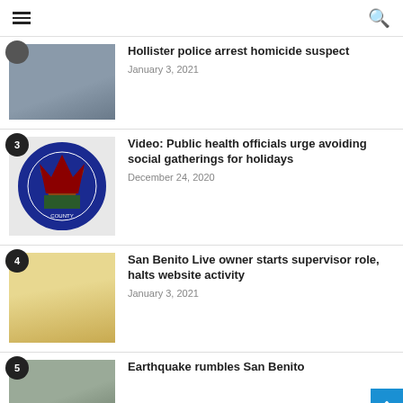Navigation header with hamburger menu and search icon
Hollister police arrest homicide suspect
January 3, 2021
3 Video: Public health officials urge avoiding social gatherings for holidays
December 24, 2020
4 San Benito Live owner starts supervisor role, halts website activity
January 3, 2021
5 Earthquake rumbles San Benito